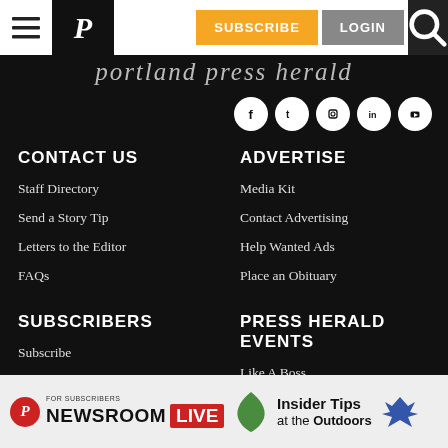Portland Press Herald - navigation bar with Subscribe, Login
[Figure (logo): Portland Press Herald masthead logo in cursive white text on black background]
[Figure (illustration): Social media icons: Facebook, Twitter, Instagram, LinkedIn, YouTube]
CONTACT US
Staff Directory
Send a Story Tip
Letters to the Editor
FAQs
ADVERTISE
Media Kit
Contact Advertising
Help Wanted Ads
Place an Obituary
SUBSCRIBERS
Subscribe
Manage Your Account
PRESS HERALD EVENTS
Like A Boss
[Figure (illustration): Newsroom Live advertisement banner with Insider Tips at the Outdoors]